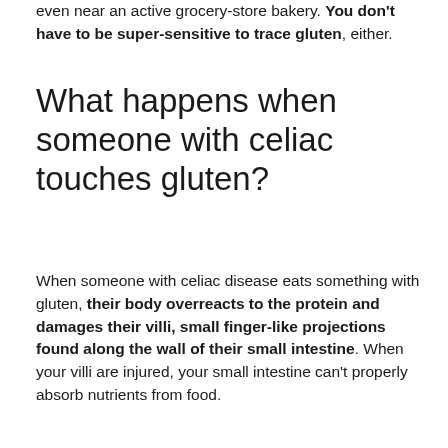even near an active grocery-store bakery. You don't have to be super-sensitive to trace gluten, either.
What happens when someone with celiac touches gluten?
When someone with celiac disease eats something with gluten, their body overreacts to the protein and damages their villi, small finger-like projections found along the wall of their small intestine. When your villi are injured, your small intestine can't properly absorb nutrients from food.